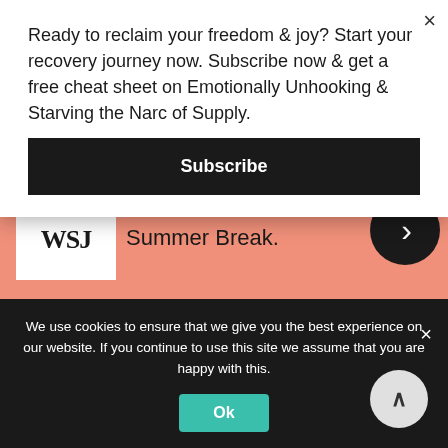[Figure (screenshot): WSJ advertisement on salmon/orange background: 'Join Now: Only $4 per month' headline, WSJ logo, 'News Doesn't Take a Summer Break.' text, dark circular arrow button]
Ready to reclaim your freedom & joy? Start your recovery journey now. Subscribe now & get a free cheat sheet on Emotionally Unhooking & Starving the Narc of Supply.
Subscribe
Join Now: Only $4 per month
News Doesn't Take a Summer Break.
We use cookies to ensure that we give you the best experience on our website. If you continue to use this site we assume that you are happy with this.
Ok